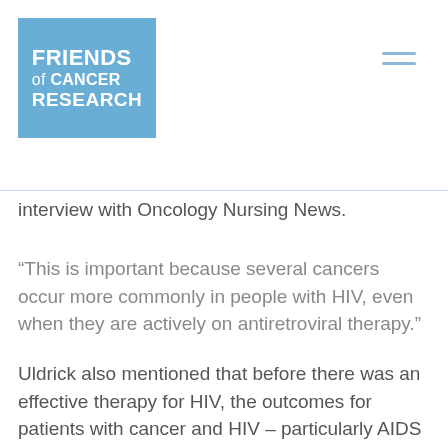Friends of Cancer Research
interview with Oncology Nursing News.
“This is important because several cancers occur more commonly in people with HIV, even when they are actively on antiretroviral therapy.”
Uldrick also mentioned that before there was an effective therapy for HIV, the outcomes for patients with cancer and HIV – particularly AIDS – were poor. Not to mention, early HIV medicines had drug-drug interactions with